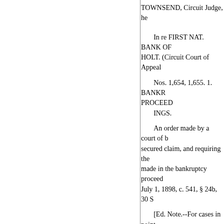TOWNSEND, Circuit Judge, he
In re FIRST NAT. BANK OF HOLT. (Circuit Court of Appeal
Nos. 1,654, 1,655. 1. BANKR PROCEED
INGS.
An order made by a court of b secured claim, and requiring the made in the bankruptcy proceed July 1, 1898, c. 541, § 24b, 30 S
[Ed. Note.--For cases in point
Appeal and review in bankru
C. C. A. 9.] 2. SAME-VOIDA
To render a preferential paym latter's bankruptcy voidable und 1901, p. 3445), as amended by A p. 689], the bankrupt must not o intended it as a preference, and, injuring other creditors and in th charged with reasonable cause t